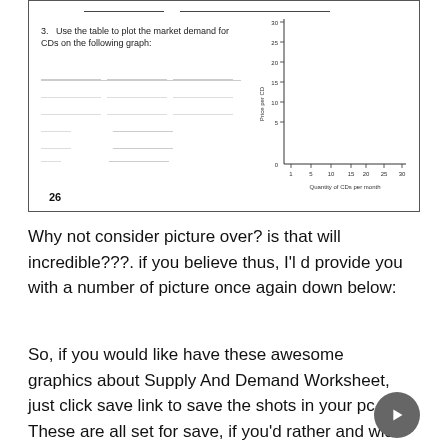[Figure (other): Worksheet excerpt showing question 3 about plotting market demand for CDs, with a blank table area and a coordinate graph with y-axis 'Price per CD' (0-30) and x-axis 'Quantity of CDs per month' (0-30), page number 26 at bottom left.]
Why not consider picture over? is that will incredible???. if you believe thus, I'l d provide you with a number of picture once again down below:
So, if you would like have these awesome graphics about Supply And Demand Worksheet, just click save link to save the shots in your pc. These are all set for save, if you'd rather and wish to grab it, click save badge in the page, and it will be immediately downloaded in your home